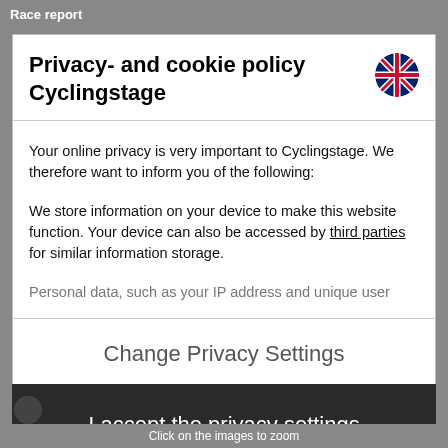Race report
Privacy- and cookie policy Cyclingstage
Your online privacy is very important to Cyclingstage. We therefore want to inform you of the following:
We store information on your device to make this website function. Your device can also be accessed by third parties for similar information storage.
Personal data, such as your IP address and unique user
Change Privacy Settings
I accept the privacy settings
Click on the images to zoom